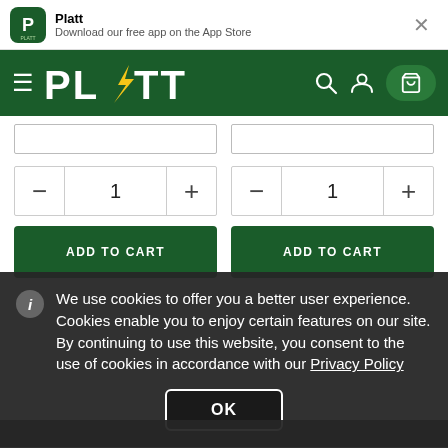Platt — Download our free app on the App Store
[Figure (logo): Platt logo — green navigation header with PLATT text and hamburger menu, search, user, and cart icons]
— (quantity minus) 1 + (quantity plus) / — 1 +
ADD TO CART / ADD TO CART
We use cookies to offer you a better user experience. Cookies enable you to enjoy certain features on our site. By continuing to use this website, you consent to the use of cookies in accordance with our Privacy Policy
OK